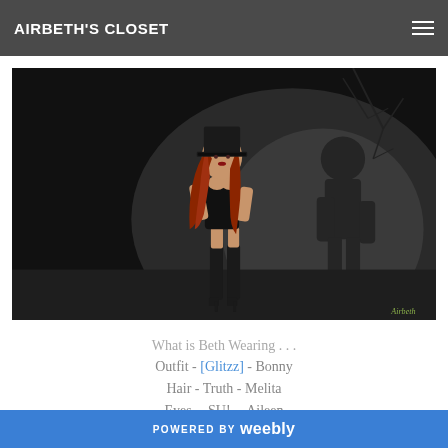AIRBETH'S CLOSET
[Figure (photo): A Second Life avatar character with red hair, wearing a black top hat, black bodysuit, and black stockings, posed against a dark background with a dramatic shadow silhouette on the wall behind her. Watermark 'Airbeth' in green italic text in bottom right corner.]
What is Beth Wearing . . .
Outfit - [Glitzz] - Bonny
Hair - Truth - Melita
Eyes - -SU!- - Aileen
Skin - [PF] - Sora
POWERED BY weebly